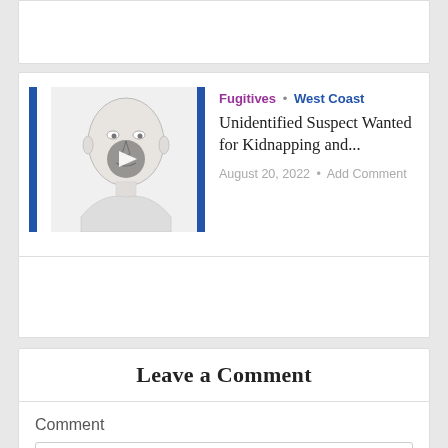[Figure (screenshot): Top card area - partial white card visible at top of page]
[Figure (illustration): Sketch portrait of unidentified suspect with video play button overlay, flanked by blue vertical bars]
Fugitives • West Coast
Unidentified Suspect Wanted for Kidnapping and...
August 20, 2022 • Add Comment
Leave a Comment
Comment